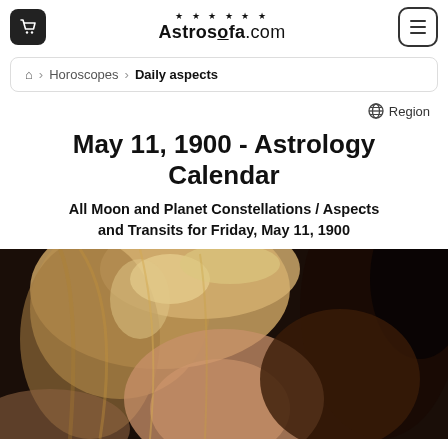Astrosofa.com
Home > Horoscopes > Daily aspects
Region
May 11, 1900 - Astrology Calendar
All Moon and Planet Constellations / Aspects and Transits for Friday, May 11, 1900
[Figure (photo): Portrait photo of a woman with long blonde-brown highlighted hair against a dark background]